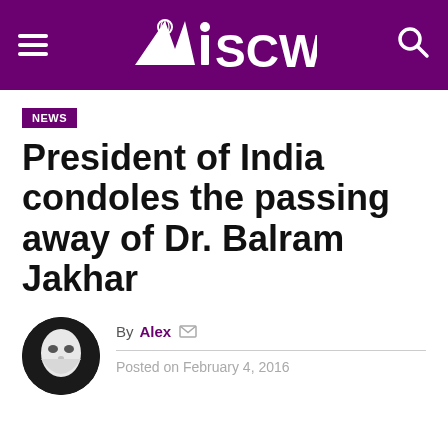MISCW — site navigation header with logo, hamburger menu, and search icon
NEWS
President of India condoles the passing away of Dr. Balram Jakhar
By Alex  Posted on February 4, 2016